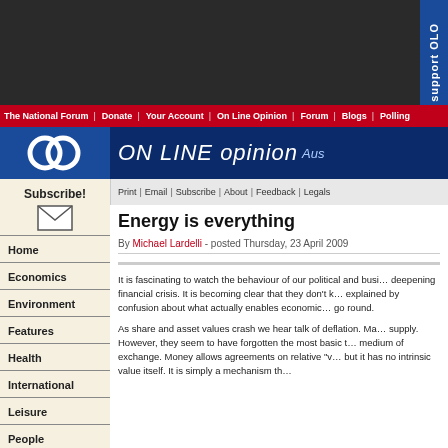ON LINE opinion - Australia's e-journal of social and political debate
The National Forum | Donate | Your Account | On Line Opinion | Forum | Blogs | Polling
Print | Email | Subscribe | About | Feedback | Legals
Energy is everything
By Michael Lardelli - posted Thursday, 23 April 2009
It is fascinating to watch the behaviour of our political and business leaders as we enter a deepening financial crisis. It is becoming clear that they don't know what to do and this can be explained by confusion about what actually enables economic activity to occur and makes the world go round.
As share and asset values crash we hear talk of deflation. Many economists advocate increasing money supply. However, they seem to have forgotten the most basic thing about money. Money is simply a medium of exchange. Money allows agreements on relative "value" to be transferred between parties but it has no intrinsic value itself. It is simply a mechanism that...
Subscribe!
Home
Economics
Environment
Features
Health
International
Leisure
People
Politics
Technology